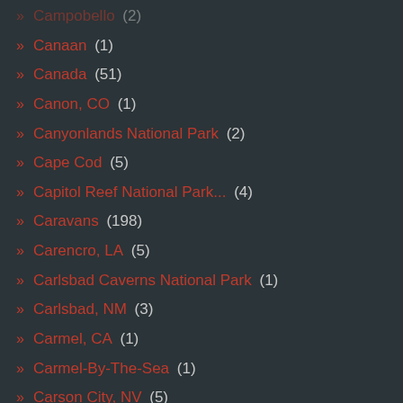Campobello (2)
Canaan (1)
Canada (51)
Canon, CO (1)
Canyonlands National Park (2)
Cape Cod (5)
Capitol Reef National Park... (4)
Caravans (198)
Carencro, LA (5)
Carlsbad Caverns National Park (1)
Carlsbad, NM (3)
Carmel, CA (1)
Carmel-By-The-Sea (1)
Carson City, NV (5)
Cascade Locks (2)